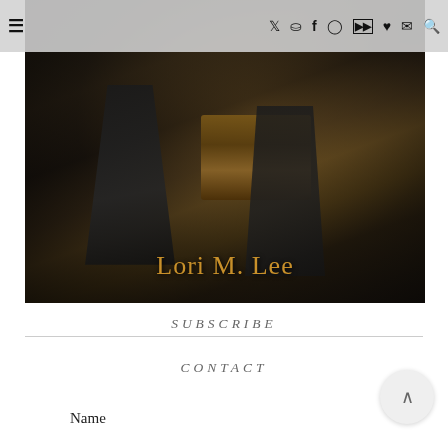≡ navigation bar with social icons: Twitter, Pinterest, Facebook, Instagram, YouTube, Heart, Mail, Search
[Figure (photo): Book cover of a fantasy novel showing dark-robed figures with a leather belt/armor accent, titled 'Lori M. Lee' in gold serif text at the bottom]
SUBSCRIBE
CONTACT
Name